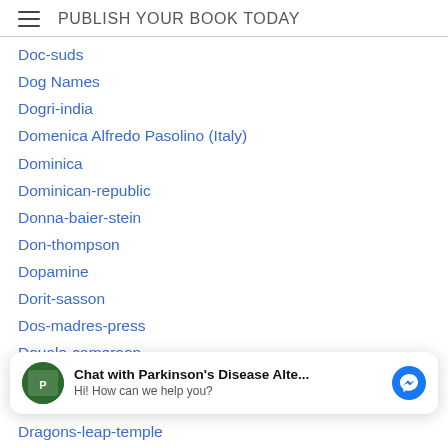PUBLISH YOUR BOOK TODAY
Doc-suds
Dog Names
Dogri-india
Domenica Alfredo Pasolino (Italy)
Dominica
Dominican-republic
Donna-baier-stein
Don-thompson
Dopamine
Dorit-sasson
Dos-madres-press
Douala-cameroon
Doukhbor-russia
Doukhobor-canada
[Figure (other): Chat widget: avatar image of Parkinson's Disease Alternatives book cover, bold text 'Chat with Parkinson's Disease Alte...' and subtext 'Hi! How can we help you?', blue Messenger icon button]
Dragana Simic (Serbia)
Dragons-leap-temple